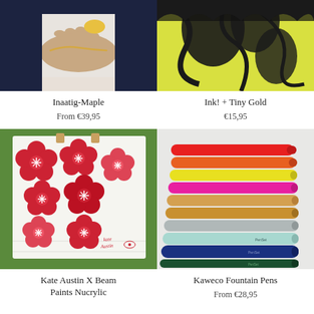[Figure (photo): Product photo: person wearing bracelet on wrist, top portion cropped, navy background]
Inaatig-Maple
From  €39,95
[Figure (photo): Product photo: black ink illustration on yellow/green background, top portion cropped]
Ink! + Tiny Gold
€15,95
[Figure (photo): Product photo: white fabric/tote with red cherry blossom flower prints, signed Kate Austin]
Kate Austin X Beam Paints Nucrylic
[Figure (photo): Product photo: collection of colorful fountain pens arranged fanned out - red, orange, yellow, pink, gold, silver, light blue, blue, dark green]
Kaweco Fountain Pens
From  €28,95